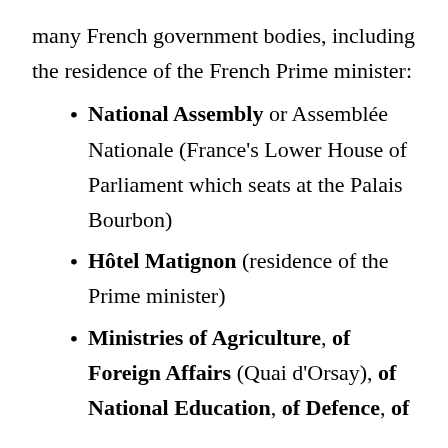many French government bodies, including the residence of the French Prime minister:
National Assembly or Assemblée Nationale (France's Lower House of Parliament which seats at the Palais Bourbon)
Hôtel Matignon (residence of the Prime minister)
Ministries of Agriculture, of Foreign Affairs (Quai d'Orsay), of National Education, of Defence, of